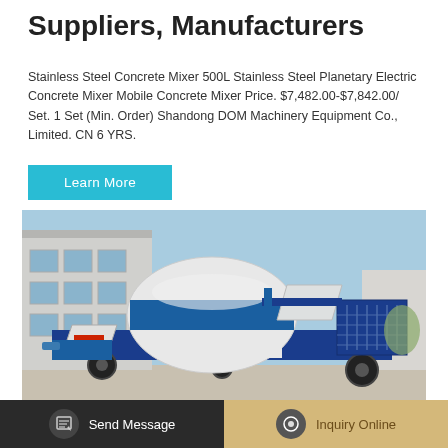Suppliers, Manufacturers
Stainless Steel Concrete Mixer 500L Stainless Steel Planetary Electric Concrete Mixer Mobile Concrete Mixer Price. $7,482.00-$7,842.00/ Set. 1 Set (Min. Order) Shandong DOM Machinery Equipment Co., Limited. CN 6 YRS.
Learn More
[Figure (photo): Blue and white concrete mixer truck/pump machine parked outside an industrial building with clear sky background.]
Send Message
Inquiry Online